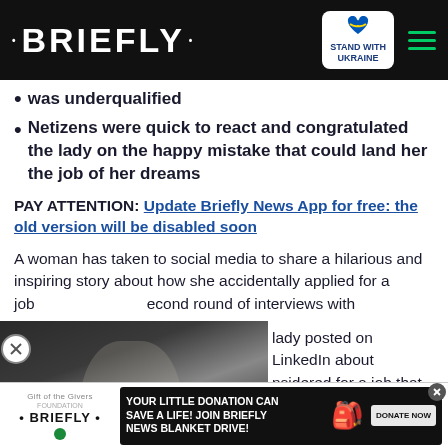• BRIEFLY • | STAND WITH UKRAINE
was underqualified
Netizens were quick to react and congratulated the lady on the happy mistake that could land her the job of her dreams
PAY ATTENTION: Update Briefly News App for free: the old version will be disabled soon
A woman has taken to social media to share a hilarious and inspiring story about how she accidentally applied for a job [and made it to the se]cond round of interviews with [a company. The]
[Figure (screenshot): Video thumbnail showing a person with a play button overlay, partially overlapping article text]
[The] lady posted on LinkedIn about [being] considered for a job that she [was not qu]alified for.
[Figure (screenshot): Ad banner: Gift of the Givers / Briefly logo on left, dark banner on right with text YOUR LITTLE DONATION CAN SAVE A LIFE! JOIN BRIEFLY NEWS BLANKET DRIVE! and DONATE NOW button with bag icon]